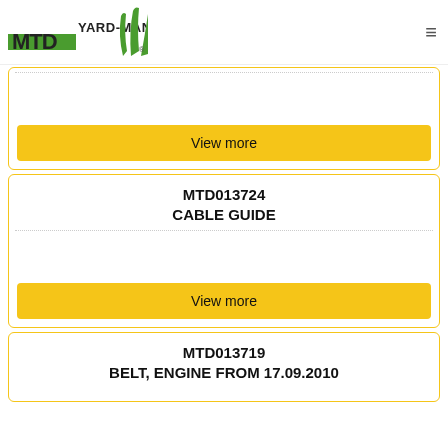MTD YARD-MAN
View more
MTD013724
CABLE GUIDE
View more
MTD013719
BELT, ENGINE FROM 17.09.2010